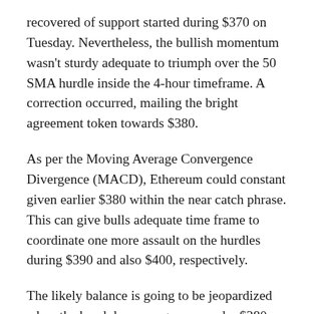recovered of support started during $370 on Tuesday. Nevertheless, the bullish momentum wasn't sturdy adequate to triumph over the 50 SMA hurdle inside the 4-hour timeframe. A correction occurred, mailing the bright agreement token towards $380.
As per the Moving Average Convergence Divergence (MACD), Ethereum could constant given earlier $380 within the near catch phrase. This can give bulls adequate time frame to coordinate one more assault on the hurdles during $390 and also $400, respectively.
The likely balance is going to be jeopardized when the breakdown progresses under $380. Selling orders are likely to go up, risking declines under the crucial guidance usually at $370 and the descending parallel channel. A lot more formidable support